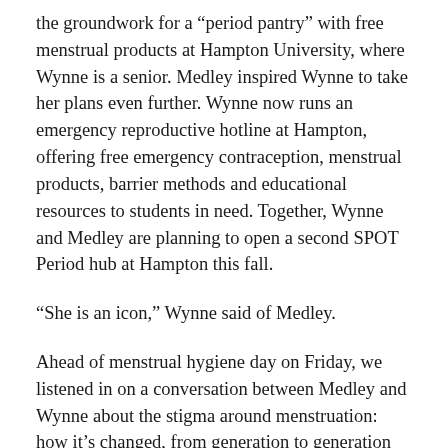the groundwork for a “period pantry” with free menstrual products at Hampton University, where Wynne is a senior. Medley inspired Wynne to take her plans even further. Wynne now runs an emergency reproductive hotline at Hampton, offering free emergency contraception, menstrual products, barrier methods and educational resources to students in need. Together, Wynne and Medley are planning to open a second SPOT Period hub at Hampton this fall.
“She is an icon,” Wynne said of Medley.
Ahead of menstrual hygiene day on Friday, we listened in on a conversation between Medley and Wynne about the stigma around menstruation: how it’s changed, from generation to generation — and how it’s stayed the same.